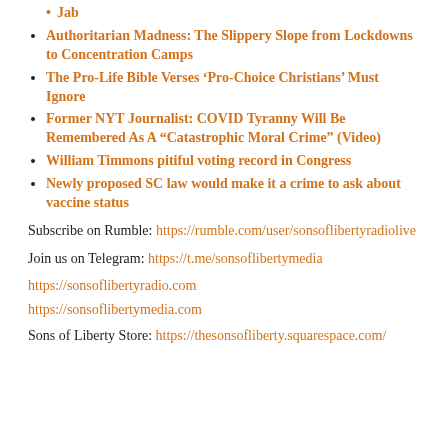Jab
Authoritarian Madness: The Slippery Slope from Lockdowns to Concentration Camps
The Pro-Life Bible Verses ‘Pro-Choice Christians’ Must Ignore
Former NYT Journalist: COVID Tyranny Will Be Remembered As A “Catastrophic Moral Crime” (Video)
William Timmons pitiful voting record in Congress
Newly proposed SC law would make it a crime to ask about vaccine status
Subscribe on Rumble: https://rumble.com/user/sonsoflibertyradiolive
Join us on Telegram: https://t.me/sonsoflibertymedia
https://sonsoflibertyradio.com
https://sonsoflibertymedia.com
Sons of Liberty Store: https://thesonsofliberty.squarespace.com/